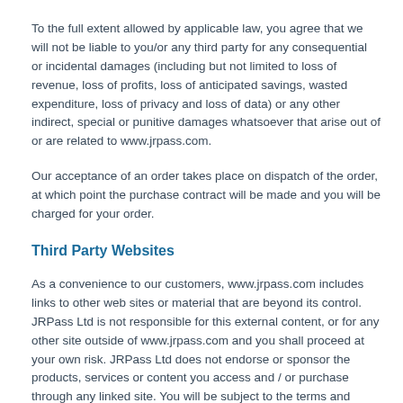Japan Railways and any disruption, damage and/or loss caused to you as a result shall not be our responsibility.
To the full extent allowed by applicable law, you agree that we will not be liable to you/or any third party for any consequential or incidental damages (including but not limited to loss of revenue, loss of profits, loss of anticipated savings, wasted expenditure, loss of privacy and loss of data) or any other indirect, special or punitive damages whatsoever that arise out of or are related to www.jrpass.com.
Our acceptance of an order takes place on dispatch of the order, at which point the purchase contract will be made and you will be charged for your order.
Third Party Websites
As a convenience to our customers, www.jrpass.com includes links to other web sites or material that are beyond its control. JRPass Ltd is not responsible for this external content, or for any other site outside of www.jrpass.com and you shall proceed at your own risk. JRPass Ltd does not endorse or sponsor the products, services or content you access and / or purchase through any linked site. You will be subject to the terms and conditions of use for all and any such